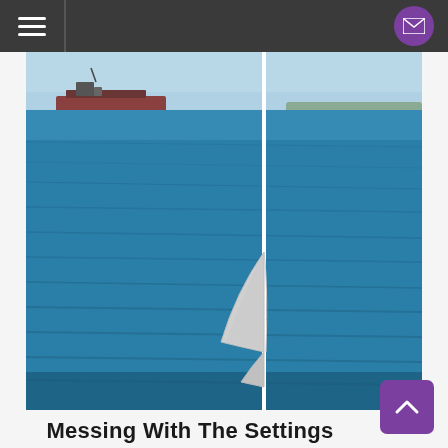Navigation bar with hamburger menu and mail button
[Figure (photo): Photograph of a blue ocean/bay with a large cargo ship visible on the horizon. A white sailboat mast and sail are in the foreground/center of the image, partially unfurled. The sky is light blue and hazy.]
Messing With The Settings
LABEL: Positive Jams